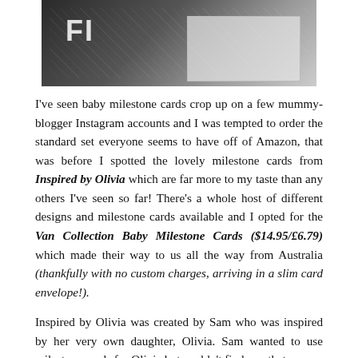[Figure (photo): Close-up photograph of dark milestone cards with star/sparkle pattern and a ruler or cutting mat visible in the upper right corner]
I've seen baby milestone cards crop up on a few mummy-blogger Instagram accounts and I was tempted to order the standard set everyone seems to have off of Amazon, that was before I spotted the lovely milestone cards from Inspired by Olivia which are far more to my taste than any others I've seen so far! There's a whole host of different designs and milestone cards available and I opted for the Van Collection Baby Milestone Cards ($14.95/£6.79) which made their way to us all the way from Australia (thankfully with no custom charges, arriving in a slim card envelope!).
Inspired by Olivia was created by Sam who was inspired by her very own daughter, Olivia. Sam wanted to use milestone cards for Olivia but couldn't find any that